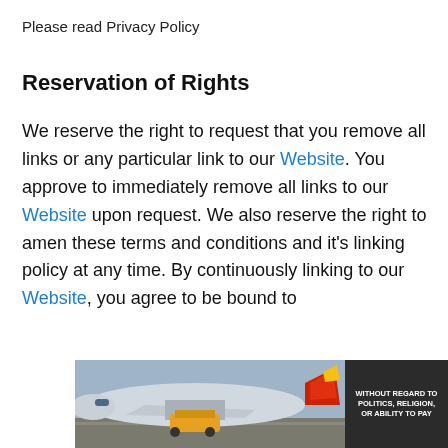Please read Privacy Policy
Reservation of Rights
We reserve the right to request that you remove all links or any particular link to our Website. You approve to immediately remove all links to our Website upon request. We also reserve the right to amen these terms and conditions and it's linking policy at any time. By continuously linking to our Website, you agree to be bound to and follow these linking terms and...
[Figure (photo): Advertisement banner showing an airplane being loaded with cargo, with a dark text block on the right reading 'WITHOUT REGARD TO POLITICS, RELIGION, OR ABILITY TO PAY']